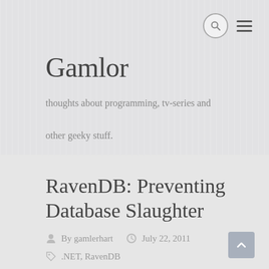Gamlor
thoughts about programming, tv-series and other geeky stuff.
RavenDB: Preventing Database Slaughter
By gamlerhart   July 22, 2011
.NET, RavenDB